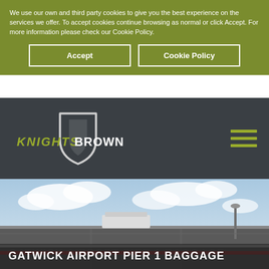We use our own and third party cookies to give you the best experience on the services we offer. To accept cookies continue browsing as normal or click Accept. For more information please check our Cookie Policy.
Accept
Cookie Policy
[Figure (logo): Knights Brown logo with shield icon, KNIGHTS in olive/yellow italic and BROWN in white bold, on dark grey navigation bar]
[Figure (photo): Exterior view of Gatwick Airport Pier 1 Baggage facility, showing a large building rooftop against a partly cloudy sky, with airport infrastructure visible]
GATWICK AIRPORT PIER 1 BAGGAGE